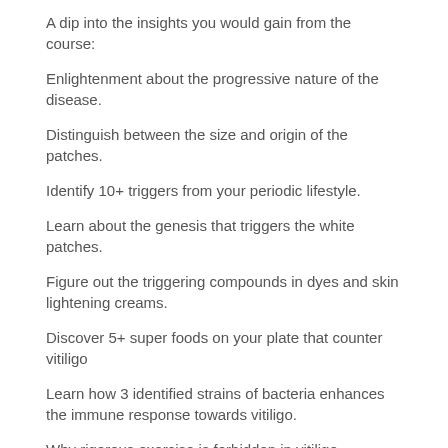A dip into the insights you would gain from the course:
Enlightenment about the progressive nature of the disease.
Distinguish between the size and origin of the patches.
Identify 10+ triggers from your periodic lifestyle.
Learn about the genesis that triggers the white patches.
Figure out the triggering compounds in dyes and skin lightening creams.
Discover 5+ super foods on your plate that counter vitiligo
Learn how 3 identified strains of bacteria enhances the immune response towards vitiligo.
Why rigorous exercise is forbidden in vitiligo.
8 dietary supplements every vitiligo patient must know about.